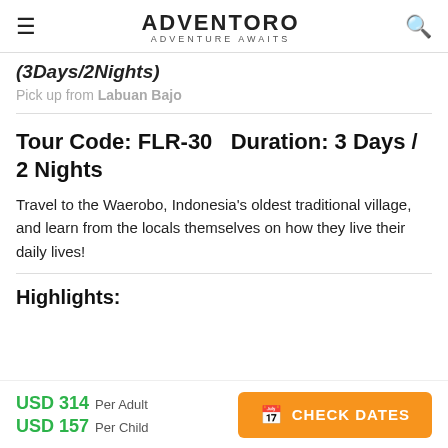ADVENTORO — ADVENTURE AWAITS
(3Days/2Nights)
Pick up from Labuan Bajo
Tour Code: FLR-30   Duration: 3 Days / 2 Nights
Travel to the Waerobo, Indonesia's oldest traditional village, and learn from the locals themselves on how they live their daily lives!
Highlights:
USD 314 Per Adult
USD 157 Per Child
CHECK DATES